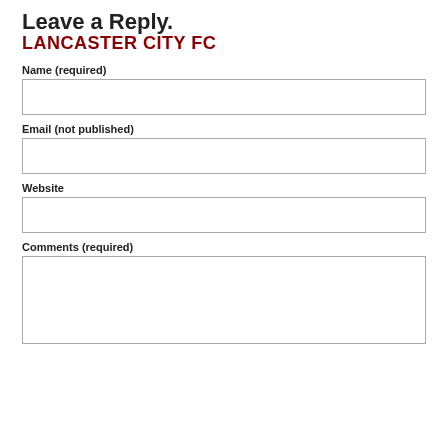Leave a Reply.
LANCASTER CITY FC
Name (required)
Email (not published)
Website
Comments (required)